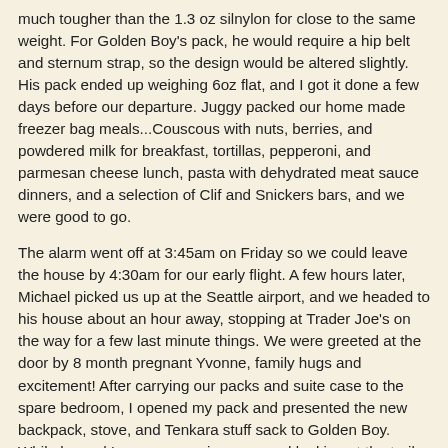much tougher than the 1.3 oz silnylon for close to the same weight. For Golden Boy's pack, he would require a hip belt and sternum strap, so the design would be altered slightly. His pack ended up weighing 6oz flat, and I got it done a few days before our departure. Juggy packed our home made freezer bag meals...Couscous with nuts, berries, and powdered milk for breakfast, tortillas, pepperoni, and parmesan cheese lunch, pasta with dehydrated meat sauce dinners, and a selection of Clif and Snickers bars, and we were good to go.
The alarm went off at 3:45am on Friday so we could leave the house by 4:30am for our early flight. A few hours later, Michael picked us up at the Seattle airport, and we headed to his house about an hour away, stopping at Trader Joe's on the way for a few last minute things. We were greeted at the door by 8 month pregnant Yvonne, family hugs and excitement! After carrying our packs and suite case to the spare bedroom, I opened my pack and presented the new backpack, stove, and Tenkara stuff sack to Golden Boy. While he and I were comparing gear and looking at the trail maps, the girls were talking about the new baby and making